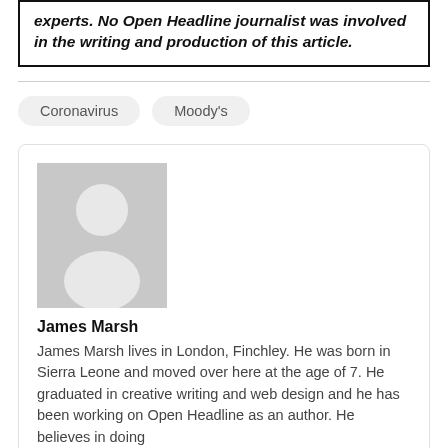experts. No Open Headline journalist was involved in the writing and production of this article.
Coronavirus
Moody's
[Figure (illustration): Generic user/author placeholder silhouette icon in grey]
James Marsh
James Marsh lives in London, Finchley. He was born in Sierra Leone and moved over here at the age of 7. He graduated in creative writing and web design and he has been working on Open Headline as an author. He believes in doing